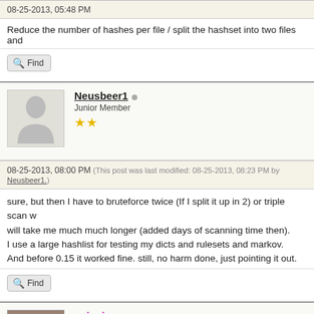08-25-2013, 05:48 PM
Reduce the number of hashes per file / split the hashset into two files and
Find
Neusbeer1 — Junior Member — 2 stars
08-25-2013, 08:00 PM (This post was last modified: 08-25-2013, 08:23 PM by Neusbeer1.)
sure, but then I have to bruteforce twice (If I split it up in 2) or triple scan w will take me much much longer (added days of scanning time then). I use a large hashlist for testing my dicts and rulesets and markov. And before 0.15 it worked fine. still, no harm done, just pointing it out.
Find
epixoip — Legend — 6 stars
08-26-2013, 09:31 AM